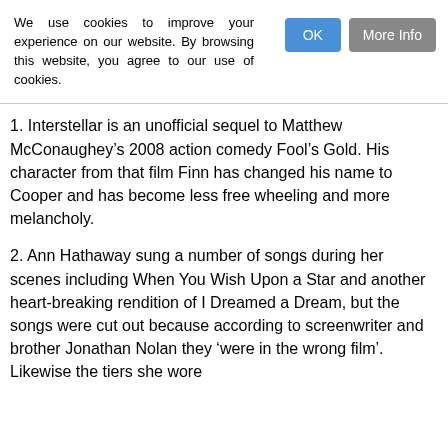We use cookies to improve your experience on our website. By browsing this website, you agree to our use of cookies.
1. Interstellar is an unofficial sequel to Matthew McConaughey’s 2008 action comedy Fool’s Gold. His character from that film Finn has changed his name to Cooper and has become less free wheeling and more melancholy.
2. Ann Hathaway sung a number of songs during her scenes including When You Wish Upon a Star and another heart-breaking rendition of I Dreamed a Dream, but the songs were cut out because according to screenwriter and brother Jonathan Nolan they ‘were in the wrong film’. Likewise the tiers she wore...